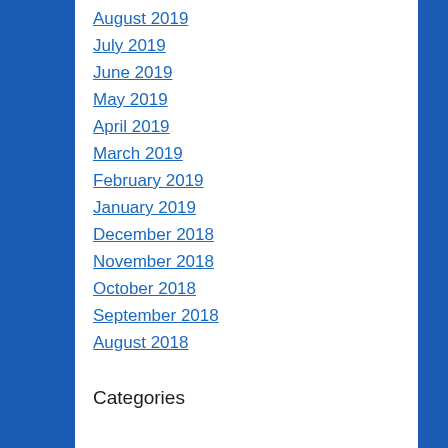August 2019
July 2019
June 2019
May 2019
April 2019
March 2019
February 2019
January 2019
December 2018
November 2018
October 2018
September 2018
August 2018
Categories